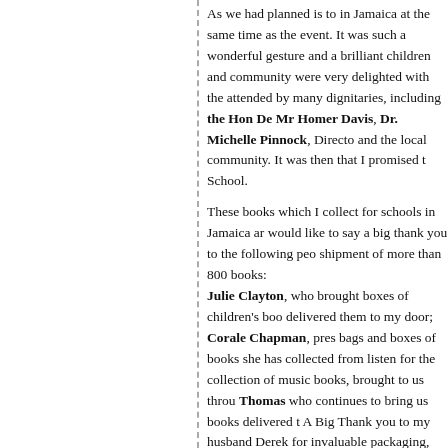As we had planned is to in Jamaica at the same time as the event. It was such a wonderful gesture and a brilliant children and community were very delighted with the attended by many dignitaries, including the Hon De Mr Homer Davis, Dr. Michelle Pinnock, Director and the local community. It was then that I promised t School.
These books which I collect for schools in Jamaica ar would like to say a big thank you to the following peo shipment of more than 800 books: Julie Clayton, who brought boxes of children's boo delivered them to my door; Corale Chapman, pres bags and boxes of books she has collected from listen for the collection of music books, brought to us throu Thomas who continues to bring us books delivered t A Big Thank you to my husband Derek for invaluable packaging, and lifting heavy boxes. Thanks to my son transport me and 9 large boxes to the shipping agent.
The photo shows me with the boxes at the shipping ag
Leave a reply